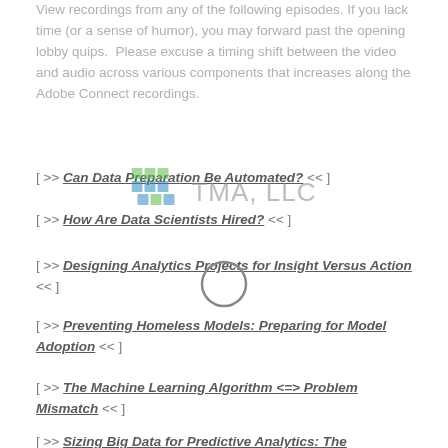View recordings from any of the following episodes. If you lack time (or a sense of humor), you may forward past the opening lobby quips.  Please excuse a timing shift between the video and audio across various components that increases along the Adobe Connect recordings.
[ >> Can Data Preparation Be Automated? << ]
[ >> How Are Data Scientists Hired? << ]
[ >> Designing Analytics Projects for Insight Versus Action << ]
[ >> Preventing Homeless Models: Preparing for Model Adoption << ]
[ >> The Machine Learning Algorithm <=> Problem Mismatch << ]
[ >> Sizing Big Data for Predictive Analytics: The...